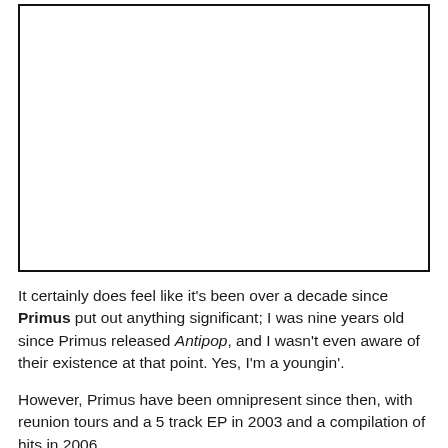[Figure (other): A large blank white rectangle with a black border, representing a placeholder image area.]
It certainly does feel like it's been over a decade since Primus put out anything significant; I was nine years old since Primus released Antipop, and I wasn't even aware of their existence at that point. Yes, I'm a youngin'.
However, Primus have been omnipresent since then, with reunion tours and a 5 track EP in 2003 and a compilation of hits in 2006.